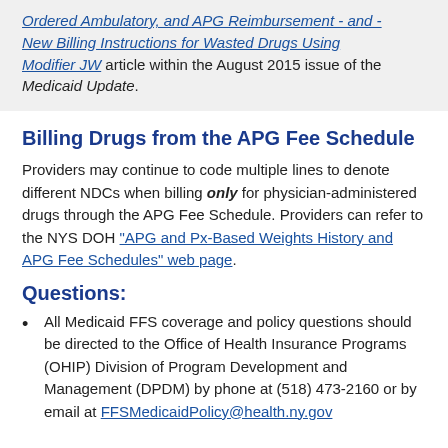Ordered Ambulatory, and APG Reimbursement - and - New Billing Instructions for Wasted Drugs Using Modifier JW article within the August 2015 issue of the Medicaid Update.
Billing Drugs from the APG Fee Schedule
Providers may continue to code multiple lines to denote different NDCs when billing only for physician-administered drugs through the APG Fee Schedule. Providers can refer to the NYS DOH "APG and Px-Based Weights History and APG Fee Schedules" web page.
Questions:
All Medicaid FFS coverage and policy questions should be directed to the Office of Health Insurance Programs (OHIP) Division of Program Development and Management (DPDM) by phone at (518) 473-2160 or by email at FFSMedicaidPolicy@health.ny.gov